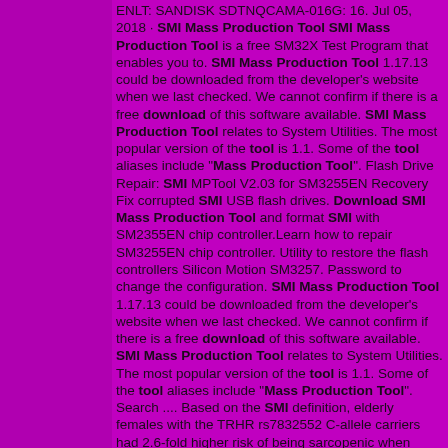ENLT: SANDISK SDTNQCAMA-016G: 16. Jul 05, 2018 · SMI Mass Production Tool SMI Mass Production Tool is a free SM32X Test Program that enables you to. SMI Mass Production Tool 1.17.13 could be downloaded from the developer's website when we last checked. We cannot confirm if there is a free download of this software available. SMI Mass Production Tool relates to System Utilities. The most popular version of the tool is 1.1. Some of the tool aliases include "Mass Production Tool". Flash Drive Repair: SMI MPTool V2.03 for SM3255EN Recovery Fix corrupted SMI USB flash drives. Download SMI Mass Production Tool and format SMI with SM2355EN chip controller.Learn how to repair SM3255EN chip controller. Utility to restore the flash controllers Silicon Motion SM3257. Password to change the configuration. SMI Mass Production Tool 1.17.13 could be downloaded from the developer's website when we last checked. We cannot confirm if there is a free download of this software available. SMI Mass Production Tool relates to System Utilities. The most popular version of the tool is 1.1. Some of the tool aliases include "Mass Production Tool". Search .... Based on the SMI definition, elderly females with the TRHR rs7832552 C-allele carriers had 2.6-fold higher risk of being sarcopenic when compared with TT homozygotes (OR = 2.568, 95% CI = 1.268. Smi mass production tool